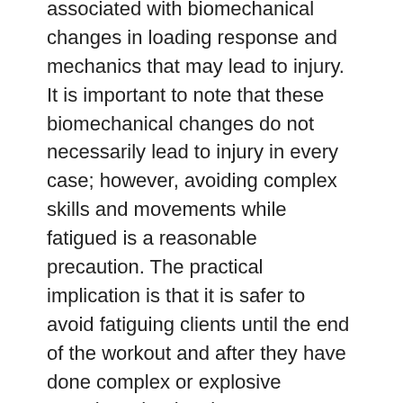associated with biomechanical changes in loading response and mechanics that may lead to injury. It is important to note that these biomechanical changes do not necessarily lead to injury in every case; however, avoiding complex skills and movements while fatigued is a reasonable precaution. The practical implication is that it is safer to avoid fatiguing clients until the end of the workout and after they have done complex or explosive exercises that involve more motor skill, such as agility and speed activities, plyometrics, and weightlifting movements.
IMPROVE CONDITIONING LEVELS
Since fatigue is a risk factor in injuries,